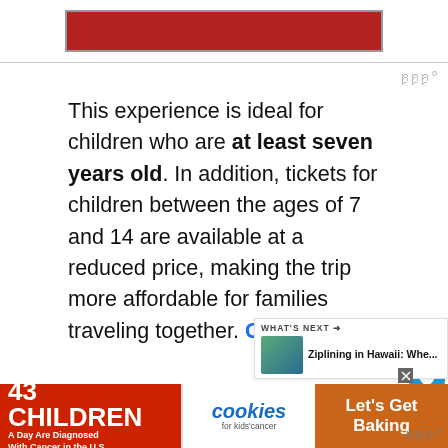[Figure (screenshot): Red banner/header image at top of page]
This experience is ideal for children who are at least seven years old. In addition, tickets for children between the ages of 7 and 14 are available at a reduced price, making the trip more affordable for families traveling together. Check latest rates and more information.
While on the adventure, you'll ge different things, including hiking and
[Figure (screenshot): What's Next promo box: Ziplining in Hawaii: Whe...]
[Figure (screenshot): Advertisement banner: 43 CHILDREN A Day Are Diagnosed With Cancer in the U.S. — cookies for kids' cancer — Let's Get Baking]